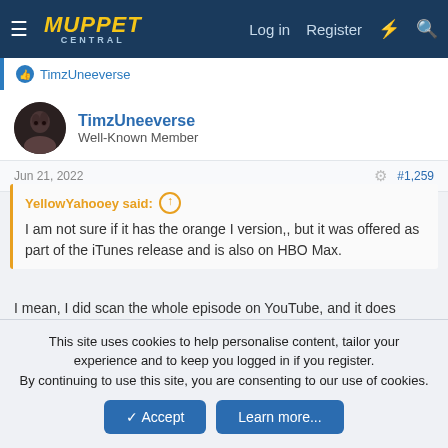Muppet Central — Log in  Register
TimzUneeverse
TimzUneeverse
Well-Known Member
Jun 21, 2022  #1,259
YellowYahooey said:
I am not sure if it has the orange I version,, but it was offered as part of the iTunes release and is also on HBO Max.
I mean, I did scan the whole episode on YouTube, and it does
This site uses cookies to help personalise content, tailor your experience and to keep you logged in if you register.
By continuing to use this site, you are consenting to our use of cookies.